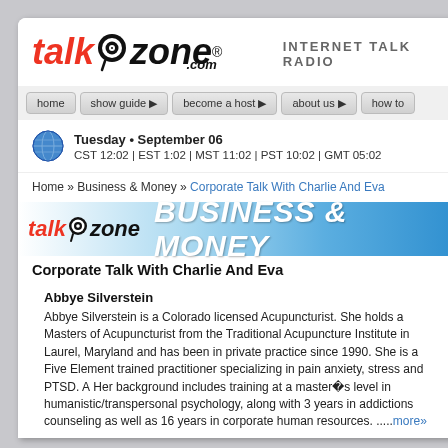[Figure (logo): talkzone.com Internet Talk Radio logo with spiral graphic]
INTERNET TALK RADIO
[Figure (screenshot): Navigation bar with: home, show guide, become a host, about us, how to]
Tuesday • September 06 CST 12:02 | EST 1:02 | MST 11:02 | PST 10:02 | GMT 05:02
Home » Business & Money » Corporate Talk With Charlie And Eva
[Figure (logo): talkzone BUSINESS & MONEY banner]
Corporate Talk With Charlie And Eva
Abbye Silverstein
Abbye Silverstein is a Colorado licensed Acupuncturist. She holds a Masters of Acupuncture from the Traditional Acupuncture Institute in Laurel, Maryland and has been in private practice since 1990. She is a Five Element trained practitioner specializing in pain anxiety, stress and PTSD. A Her background includes training at a master's level in humanistic/transpersonal psychology, along with 3 years in addictions counseling as well as 16 years in corporate human resources. .....more»